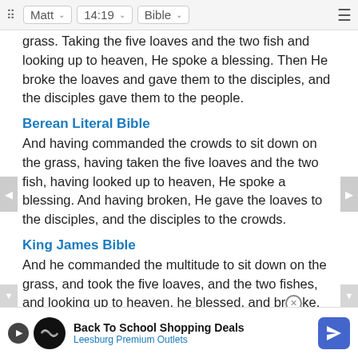Matt 14:19 Bible
grass. Taking the five loaves and the two fish and looking up to heaven, He spoke a blessing. Then He broke the loaves and gave them to the disciples, and the disciples gave them to the people.
Berean Literal Bible
And having commanded the crowds to sit down on the grass, having taken the five loaves and the two fish, having looked up to heaven, He spoke a blessing. And having broken, He gave the loaves to the disciples, and the disciples to the crowds.
King James Bible
And he commanded the multitude to sit down on the grass, and took the five loaves, and the two fishes, and looking up to heaven, he blessed, and broke, and gave the loaves to his disciples, and the disciples